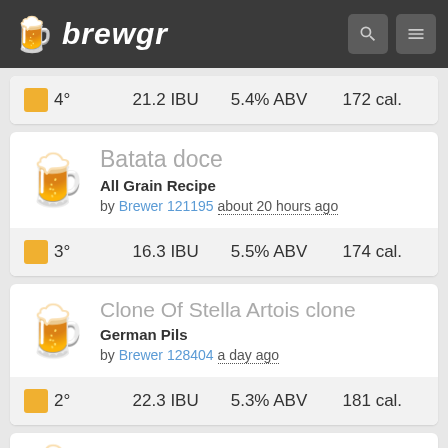brewgr
4° 21.2 IBU 5.4% ABV 172 cal.
Batata doce
All Grain Recipe
by Brewer 121195 about 20 hours ago
3° 16.3 IBU 5.5% ABV 174 cal.
Clone Of Stella Artois clone
German Pils
by Brewer 128404 a day ago
2° 22.3 IBU 5.3% ABV 181 cal.